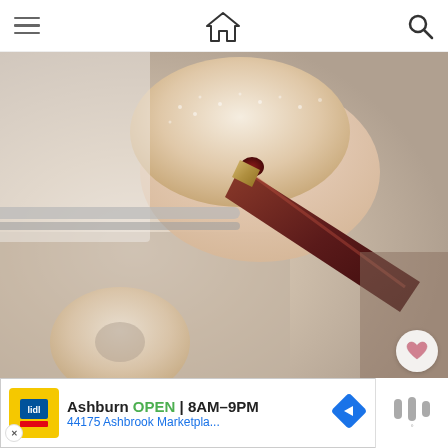Navigation bar with hamburger menu, home icon, and search icon
[Figure (photo): Close-up photo of hands filling a sugared donut with jam/cream using a pastry bag with metal tip. Background shows baking tray with more donuts.]
567
WHAT'S NEXT → Baked Birthday...
Ashburn OPEN 8AM–9PM 44175 Ashbrook Marketpla...